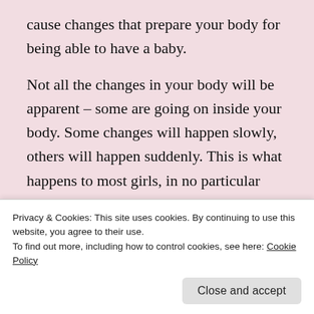cause changes that prepare your body for being able to have a baby.
Not all the changes in your body will be apparent – some are going on inside your body. Some changes will happen slowly, others will happen suddenly. This is what happens to most girls, in no particular order:
Your ovaries grow (these are two small organs…
Privacy & Cookies: This site uses cookies. By continuing to use this website, you agree to their use.
To find out more, including how to control cookies, see here: Cookie Policy